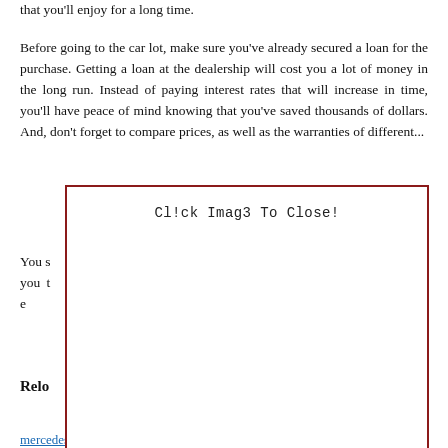that you'll enjoy for a long time.
Before going to the car lot, make sure you've already secured a loan for the purchase. Getting a loan at the dealership will cost you a lot of money in the long run. Instead of paying interest rates that will increase in time, you'll have peace of mind knowing that you've saved thousands of dollars. And, don't forget to compare prices, as well as the warranties of different...
[Figure (screenshot): A modal dialog box with a dark red border displaying the text 'Cl!ck Imag3 To Close!' centered at the top, overlaying the page content.]
You s... s your needs... ll save you t... car's accele... t drive the ve... y and will al... ck for warra...
Relo...
mercedes gl450 20222022 amg 25 release dateblue color ford...